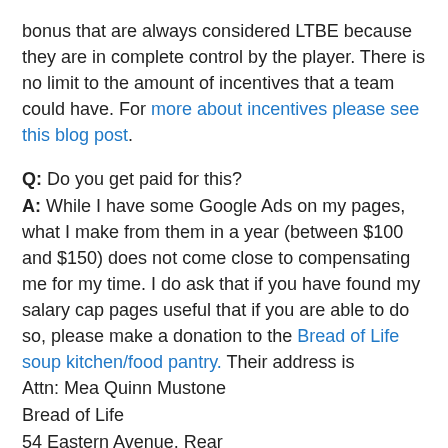bonus that are always considered LTBE because they are in complete control by the player. There is no limit to the amount of incentives that a team could have. For more about incentives please see this blog post.
Q: Do you get paid for this?
A: While I have some Google Ads on my pages, what I make from them in a year (between $100 and $150) does not come close to compensating me for my time. I do ask that if you have found my salary cap pages useful that if you are able to do so, please make a donation to the Bread of Life soup kitchen/food pantry. Their address is Attn: Mea Quinn Mustone Bread of Life 54 Eastern Avenue, Rear Malden, MA 02148 Please mention this website with your donation.
Q: Regarding Logan Mankins – if his play does not decline